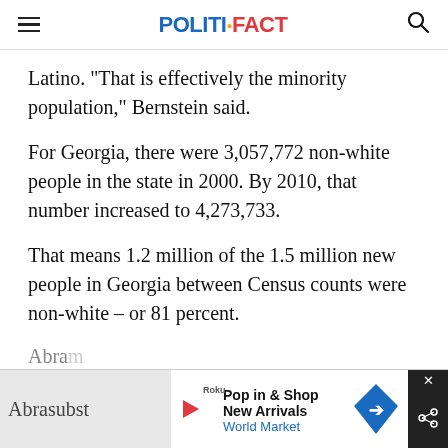POLITIFACT
Latino. "That is effectively the minority population," Bernstein said.
For Georgia, there were 3,057,772 non-white people in the state in 2000. By 2010, that number increased to 4,273,733.
That means 1.2 million of the 1.5 million new people in Georgia between Census counts were non-white – or 81 percent.
Abra... subst... ation